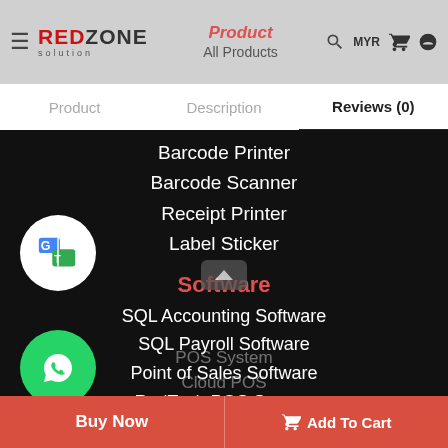[Figure (screenshot): RedZone Solution website header with logo, Product/All Products navigation, search icon, MYR currency, cart and user icons]
Product   Description   Reviews (0)
Barcode Printer
Barcode Scanner
Receipt Printer
Label Sticker
Software
SQL Accounting Software
SQL Payroll Software
Point of Sales Software
RedTech POS System
Online Cloud POS
Buy Now   Add To Cart